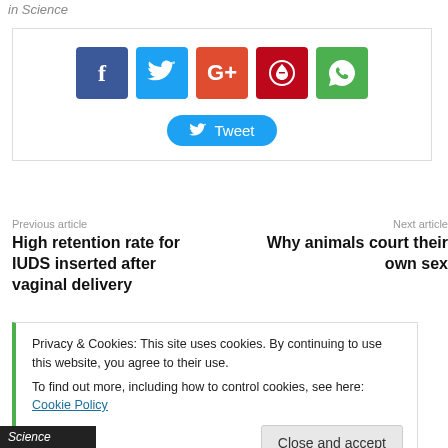in Science
[Figure (infographic): Social share buttons: Facebook, Twitter, Google+, Pinterest, WhatsApp icons, and a Tweet button]
Previous article
High retention rate for IUDS inserted after vaginal delivery
Next article
Why animals court their own sex
Privacy & Cookies: This site uses cookies. By continuing to use this website, you agree to their use.
To find out more, including how to control cookies, see here: Cookie Policy
Close and accept
Science